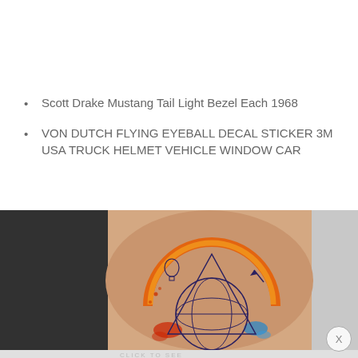Scott Drake Mustang Tail Light Bezel Each 1968
VON DUTCH FLYING EYEBALL DECAL STICKER 3M USA TRUCK HELMET VEHICLE WINDOW CAR
[Figure (photo): A tattoo on a person's arm depicting a globe/Earth with geometric triangle shapes, an orange/red circular arc (sun-like), small balloon and rocketship elements, with blue and red watercolor paint splashes]